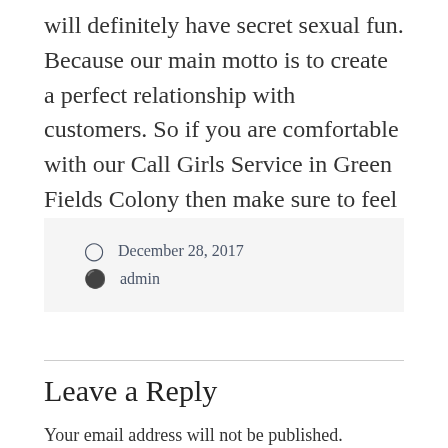will definitely have secret sexual fun. Because our main motto is to create a perfect relationship with customers. So if you are comfortable with our Call Girls Service in Green Fields Colony then make sure to feel classic sexual enjoyment.
December 28, 2017
admin
Leave a Reply
Your email address will not be published. Required fields are marked *